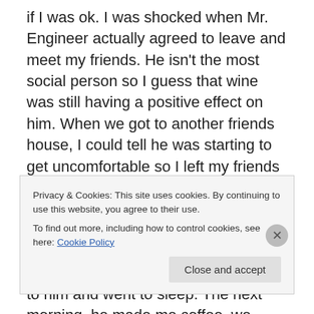if I was ok. I was shocked when Mr. Engineer actually agreed to leave and meet my friends. He isn't the most social person so I guess that wine was still having a positive effect on him. When we got to another friends house, I could tell he was starting to get uncomfortable so I left my friends and we went back to his place where I ended up staying the night. We didn't cuddle because he said that isn't his thing. It was late and I didn't take it too personal and so I turned my back to him and went to sleep. The next morning, he made me coffee, we talked and it felt nice but the places that I want to go in life; he
Privacy & Cookies: This site uses cookies. By continuing to use this website, you agree to their use.
To find out more, including how to control cookies, see here: Cookie Policy